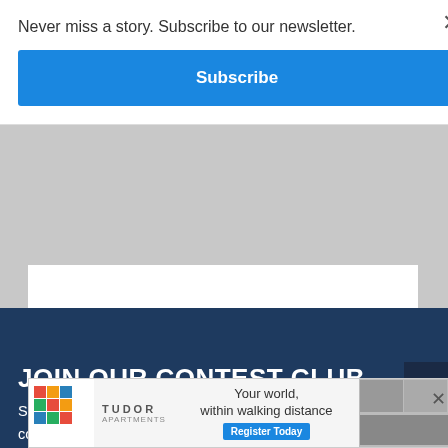Never miss a story. Subscribe to our newsletter.
Subscribe
JOIN OUR CONTEST CLUB
Sign up to be notified of our next great contest, including concert tickets, movie passes and other freebies from our promot
[Figure (screenshot): Tudor Apartments advertisement banner: colorful mosaic logo, text 'Your world, within walking distance', blue Register Today button, photo of apartment building]